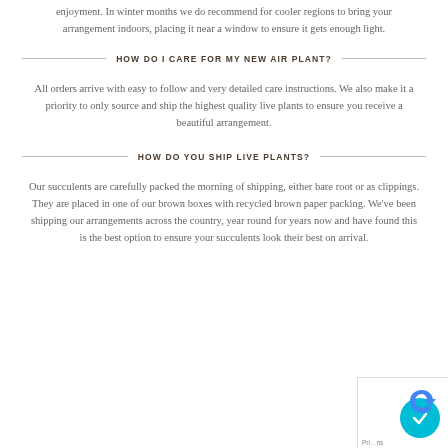enjoyment. In winter months we do recommend for cooler regions to bring your arrangement indoors, placing it near a window to ensure it gets enough light.
HOW DO I CARE FOR MY NEW AIR PLANT?
All orders arrive with easy to follow and very detailed care instructions. We also make it a priority to only source and ship the highest quality live plants to ensure you receive a beautiful arrangement.
HOW DO YOU SHIP LIVE PLANTS?
Our succulents are carefully packed the morning of shipping, either bare root or as clippings. They are placed in one of our brown boxes with recycled brown paper packing. We've been shipping our arrangements across the country, year round for years now and have found this is the best option to ensure your succulents look their best on arrival.